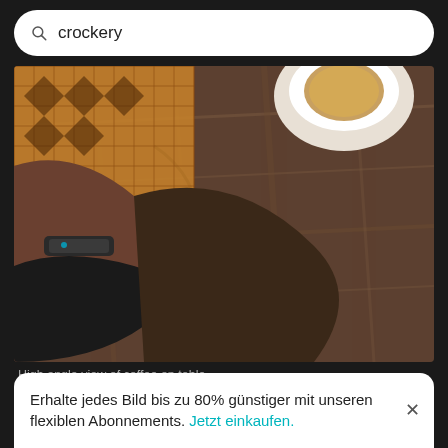crockery
[Figure (photo): High angle view of a person's arm with a smartwatch resting on a round wooden table with a coffee cup visible, with a patterned rug in background]
High angle view of coffee on table
[Figure (photo): Partial view of second photo showing a person's hand near a table, partially cut off at bottom]
Erhalte jedes Bild bis zu 80% günstiger mit unseren flexiblen Abonnements. Jetzt einkaufen.